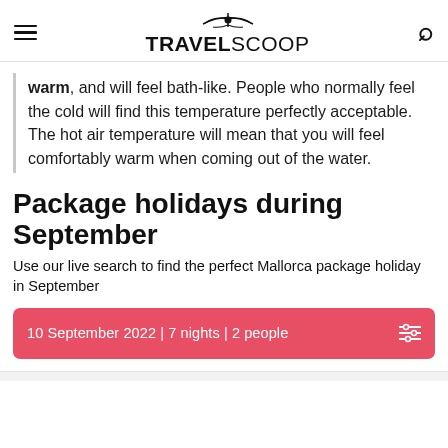TRAVELSCOOP
warm, and will feel bath-like. People who normally feel the cold will find this temperature perfectly acceptable. The hot air temperature will mean that you will feel comfortably warm when coming out of the water.
Package holidays during September
Use our live search to find the perfect Mallorca package holiday in September
10 September 2022 | 7 nights | 2 people